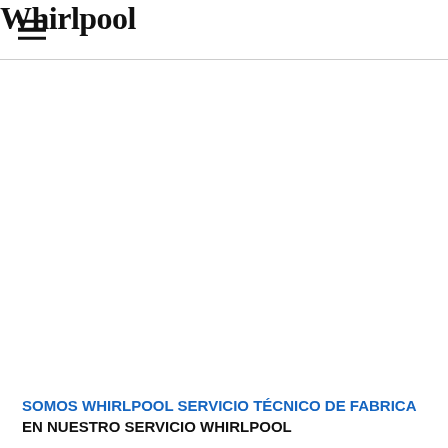Whirlpool
SOMOS WHIRLPOOL SERVICIO TÉCNICO DE FABRICA EN NUESTRO SERVICIO WHIRLPOOL